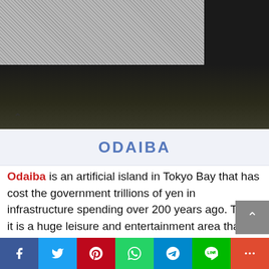[Figure (photo): Night scene photo of Odaiba area in Tokyo, with cars and lights visible in the lower portion, and a textured/blurred upper portion]
ODAIBA
Odaiba is an artificial island in Tokyo Bay that has cost the government trillions of yen in infrastructure spending over 200 years ago. Today it is a huge leisure and entertainment area that has an excellent view of Tokyo. Here you will find several shopping malls, TV stations and highlights! Indispensable!